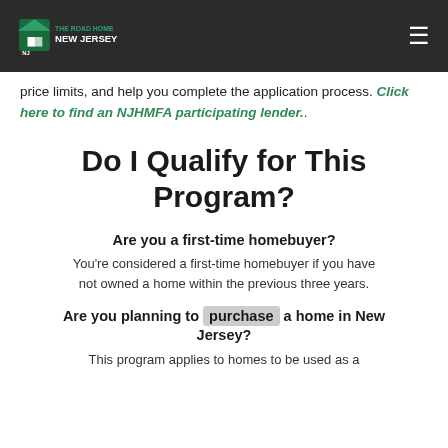THE ROAD HOME NEW JERSEY
price limits, and help you complete the application process. Click here to find an NJHMFA participating lender..
Do I Qualify for This Program?
Are you a first-time homebuyer?
You're considered a first-time homebuyer if you have not owned a home within the previous three years.
Are you planning to purchase a home in New Jersey?
This program applies to homes to be used as a